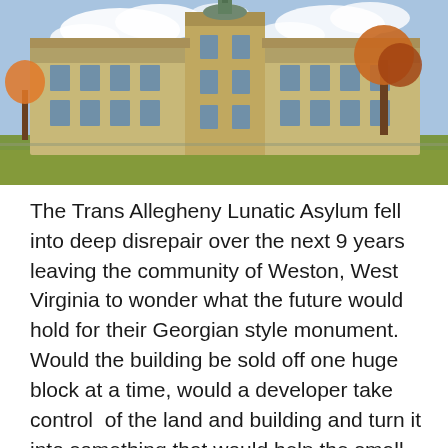[Figure (photo): Photograph of the Trans-Allegheny Lunatic Asylum, a large historic stone building with a central tower and dome, surrounded by trees with autumn foliage under a partly cloudy blue sky, with a green lawn in the foreground.]
The Trans Allegheny Lunatic Asylum fell into deep disrepair over the next 9 years leaving the community of Weston, West Virginia to wonder what the future would hold for their Georgian style monument. Would the building be sold off one huge block at a time, would a developer take control  of the land and building and turn it into something that would help the small town or would the TALA just fall apart from neglect. In 2003 Lewis County got its answer as  Morgantown asbestos demolition contractor  Joe Jordan bought the nationally listed historic building for 1.5 million dollars. It was the start of a new beginning for